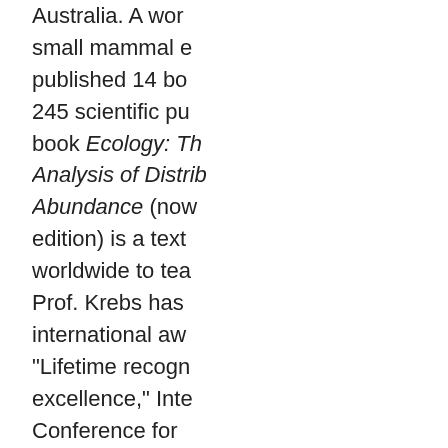Australia. A world-renowned small mammal ecologist, he published 14 books and over 245 scientific publications. His book Ecology: The Experimental Analysis of Distribution and Abundance (now in its 6th edition) is a textbook used worldwide to teach ecology. Prof. Krebs has received international awards including "Lifetime recognition of excellence," International Conference for Conservation and Management. He has worked for 50 years studying population dynamics of small mammals, including research on the community ecology of the boreal forest.